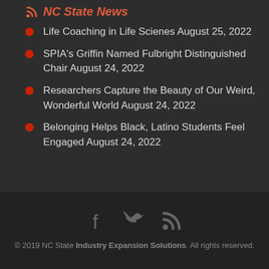NC State News
Life Coaching in Life Scienes August 25, 2022
SPIA's Griffin Named Fulbright Distinguished Chair August 24, 2022
Researchers Capture the Beauty of Our Weird, Wonderful World August 24, 2022
Belonging Helps Black, Latino Students Feel Engaged August 24, 2022
© 2019 NC State Industry Expansion Solutions. All rights reserved.